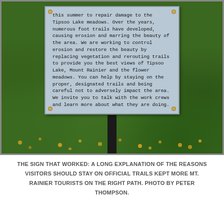[Figure (photo): Photograph of an informational park sign mounted on a post in a green meadow with yellow wildflowers. The blue-gray sign explains restoration work at Tipsoo Lake meadows at Mount Rainier, asking visitors to stay on designated trails.]
THE SIGN THAT WORKED: A LONG EXPLANATION OF THE REASONS VISITORS SHOULD STAY ON OFFICIAL TRAILS KEPT MORE MT. RAINIER TOURISTS ON THE RIGHT PATH. PHOTO BY PETER THOMPSON.